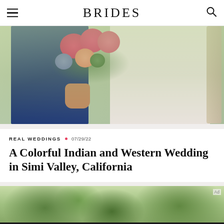BRIDES
[Figure (photo): Wedding couple close-up showing groom in navy blue suit and bride in white dress holding colorful bouquet with pink, peach, and blue flowers, with foliage in background]
REAL WEDDINGS • 07/29/22
A Colorful Indian and Western Wedding in Simi Valley, California
[Figure (photo): Blurred green foliage background photo, second wedding image partially visible]
We help people find answers, solve problems and get inspired. Dotdash meredith